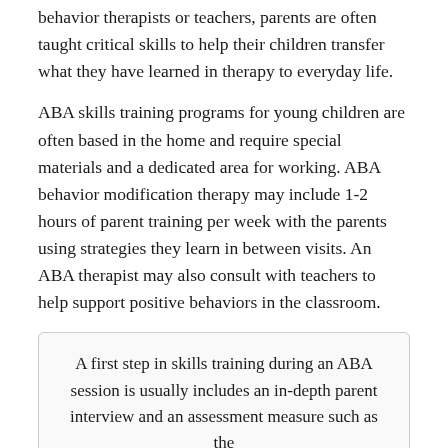behavior therapists or teachers, parents are often taught critical skills to help their children transfer what they have learned in therapy to everyday life.
ABA skills training programs for young children are often based in the home and require special materials and a dedicated area for working. ABA behavior modification therapy may include 1-2 hours of parent training per week with the parents using strategies they learn in between visits. An ABA therapist may also consult with teachers to help support positive behaviors in the classroom.
A first step in skills training during an ABA session is usually includes an in-depth parent interview and an assessment measure such as the Assessment of Basic Language and Learning Skills “ABLLS-R” or